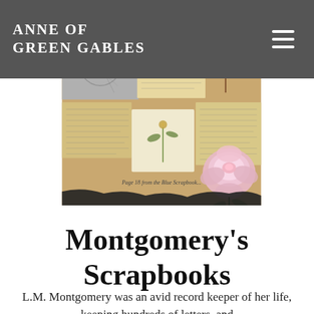Anne of Green Gables
[Figure (illustration): Collage/scrapbook image showing page 18 from the Blue Scrapbook, with pressed flowers, old newspaper clippings, handwritten notes, botanical illustrations including a rose, and pencil sketches of figures on aged paper backgrounds.]
Page 18 from the Blue Scrapbook...
Montgomery's Scrapbooks
L.M. Montgomery was an avid record keeper of her life, keeping hundreds of letters, and